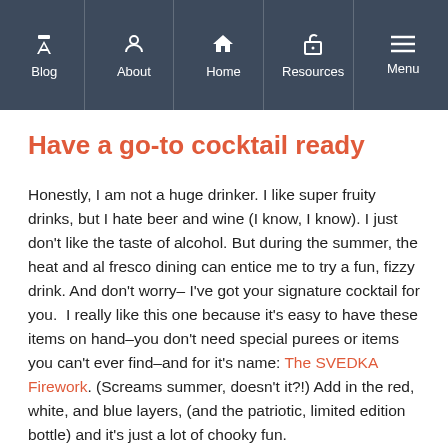Blog | About | Home | Resources | Menu
Have a go-to cocktail ready
Honestly, I am not a huge drinker. I like super fruity drinks, but I hate beer and wine (I know, I know). I just don’t like the taste of alcohol. But during the summer, the heat and al fresco dining can entice me to try a fun, fizzy drink. And don’t worry– I’ve got your signature cocktail for you.  I really like this one because it’s easy to have these items on hand–you don’t need special purees or items you can’t ever find–and for it’s name: The SVEDKA Firework. (Screams summer, doesn’t it?!) Add in the red, white, and blue layers, (and the patriotic, limited edition bottle) and it’s just a lot of chooky fun.